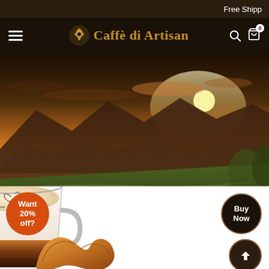Free Shipp
Caffè di Artisan
[Figure (photo): Panoramic landscape showing lush green tea or coffee plantation fields under dramatic golden sunset sky with mountains in the background]
[Figure (photo): Glass cup of latte art coffee with brown layered espresso and foam, alongside a croissant pastry on white background]
Want 20% off?
Buy Now